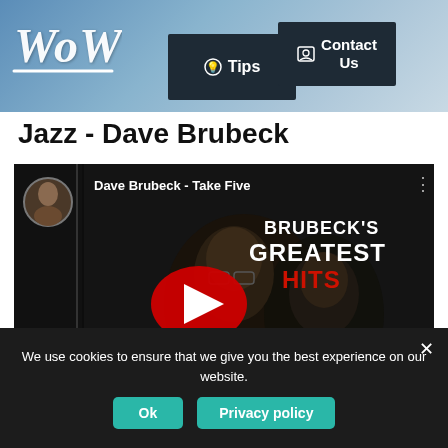WoW - Tips - Contact Us
Jazz - Dave Brubeck
[Figure (screenshot): YouTube video embed showing Dave Brubeck - Take Five, with album cover Brubeck's Greatest Hits in background and YouTube play button centered]
We use cookies to ensure that we give you the best experience on our website.
Ok
Privacy policy